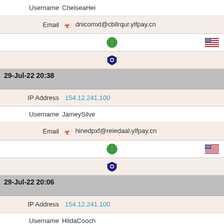| Username | ChelseaHei |
| Email | 🧫 dnicomxt@cbllrqur.ylfpay.cn |
| [globe icon] | [US flag] |
| [shield icon] |  |
| 29-Jul-22 20:38 |  |
| IP Address | 154.12.241.100 |
| Username | JameySilve |
| Email | 🧫 hinedpxf@reiedaal.ylfpay.cn |
| [globe icon] | [US flag] |
| [shield icon] |  |
| 29-Jul-22 20:06 |  |
| IP Address | 154.12.241.100 |
| Username | HildaCooch |
| Email | 🧫 qdjxoiap@nsajufvk.ylfpay.cn |
| [globe icon] | [US flag] |
| [shield icon] |  |
| 29-Jul-22 19:31 |  |